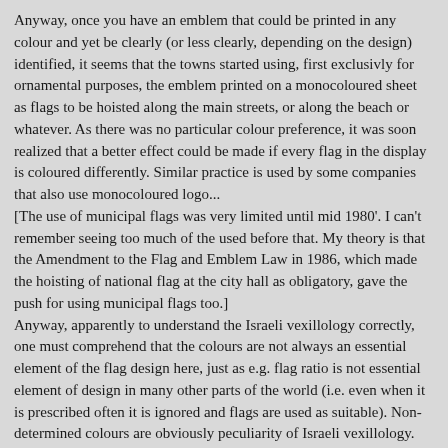Anyway, once you have an emblem that could be printed in any colour and yet be clearly (or less clearly, depending on the design) identified, it seems that the towns started using, first exclusivly for ornamental purposes, the emblem printed on a monocoloured sheet as flags to be hoisted along the main streets, or along the beach or whatever. As there was no particular colour preference, it was soon realized that a better effect could be made if every flag in the display is coloured differently. Similar practice is used by some companies that also use monocoloured logo... [The use of municipal flags was very limited until mid 1980'. I can't remember seeing too much of the used before that. My theory is that the Amendment to the Flag and Emblem Law in 1986, which made the hoisting of national flag at the city hall as obligatory, gave the push for using municipal flags too.] Anyway, apparently to understand the Israeli vexillology correctly, one must comprehend that the colours are not always an essential element of the flag design here, just as e.g. flag ratio is not essential element of design in many other parts of the world (i.e. even when it is prescribed often it is ignored and flags are used as suitable). Non-determined colours are obviously peculiarity of Israeli vexillology.
Željko Heimer [remarks by Dov Gutterman], 21 July 2003
I was asked by Nathan Lamm: Is there a reason for the use of yellow/green? It seems widespread-is it?